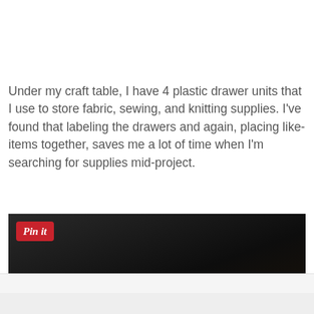Under my craft table, I have 4 plastic drawer units that I use to store fabric, sewing, and knitting supplies. I've found that labeling the drawers and again, placing like-items together, saves me a lot of time when I'm searching for supplies mid-project.
[Figure (photo): Dark photograph of what appears to be the underside of a craft table or storage area, shot from below looking up. A red 'Pin it' button overlay is visible in the top-left corner of the image.]